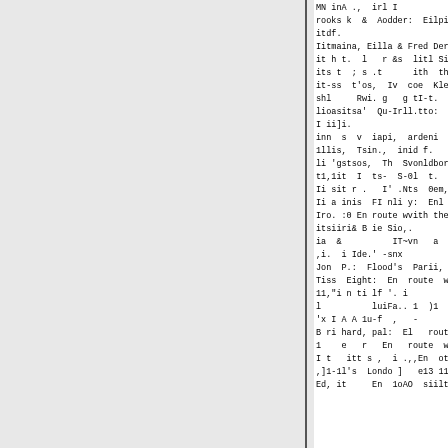MN inA ., irl I
rooks k  &  Aodder:  Eilpir', Sant
itdf.
Iitmaina, Eilla & Fred Derrick:
it h t.  l   r &s  litl Sis it t It
its t  ; s .t      ith  the  Sm r
it-ss  t'os,  Iv  coe  Kley:-s  ERr
shl     Rwi. g   g tI-t.  Sitw.
lioasitsa'  Qu-Irll.tto:  Madlision
I ii]i.
inn  s  v  iapi,  ardeni  Theatesr,
1llis,  Tsin.,  inid f.
li 'gstsos,  Th  Svonldbork,  D nim
t1,1it  I  ts-  S-0l  t.  20 .
Ii sit r .   I' .Nts  0em,  Miissou
Ii a inis  FI nli y:  Enl  rouite
Iro. :0 En route wvith the Bar-
itsiiri& B ie Sio,.
ia  &          IT~vn   a   Park, S
,i.  i Ide.' -snx
Jon  P.:  Flood's  Parii, BltimloIr
Tiss  Eight:  En  route  withis  t
11,"i n ti lf '. i
l          luiFa.. 1  )1  miite l it
'x I A A 1u-f  ,   -
B ri hard, pal:  El   route  l ila
1    e   r   En   route  with 'sit
I t   itt s ,  i .,,En  ot le  wN i
,]1-1l's  Londo ]   e13 11s  (Co.
Ed, it     En  1oAO  siilti   Ihi